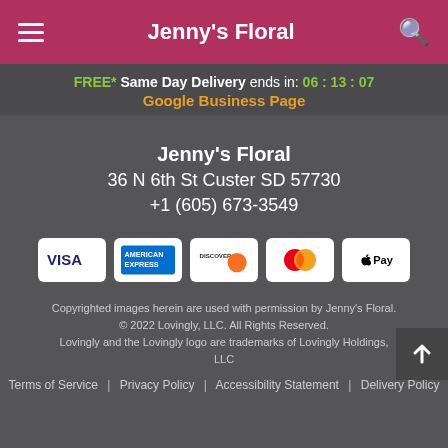Jenny's Floral
FREE* Same Day Delivery ends in: 06 : 13 : 07
Google Business Page
Jenny's Floral
36 N 6th St Custer SD 57730
+1 (605) 673-3549
[Figure (other): Payment method icons: VISA, American Express, Discover, Mastercard, Apple Pay]
Copyrighted images herein are used with permission by Jenny's Floral. © 2022 Lovingly, LLC. All Rights Reserved. Lovingly and the Lovingly logo are trademarks of Lovingly Holdings, LLC
Terms of Service | Privacy Policy | Accessibility Statement | Delivery Policy